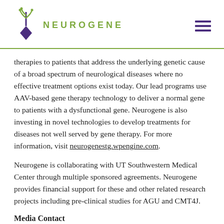NEUROGENE
therapies to patients that address the underlying genetic cause of a broad spectrum of neurological diseases where no effective treatment options exist today. Our lead programs use AAV-based gene therapy technology to deliver a normal gene to patients with a dysfunctional gene. Neurogene is also investing in novel technologies to develop treatments for diseases not well served by gene therapy. For more information, visit neurogenestg.wpengine.com.
Neurogene is collaborating with UT Southwestern Medical Center through multiple sponsored agreements. Neurogene provides financial support for these and other related research projects including pre-clinical studies for AGU and CMT4J.
Media Contact